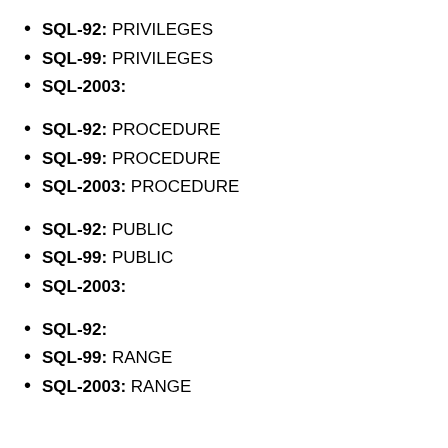SQL-92: PRIVILEGES
SQL-99: PRIVILEGES
SQL-2003:
SQL-92: PROCEDURE
SQL-99: PROCEDURE
SQL-2003: PROCEDURE
SQL-92: PUBLIC
SQL-99: PUBLIC
SQL-2003:
SQL-92:
SQL-99: RANGE
SQL-2003: RANGE